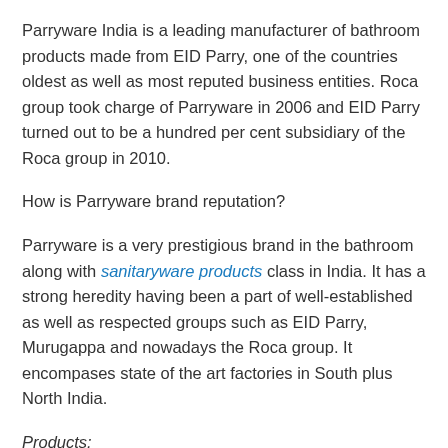Parryware India is a leading manufacturer of bathroom products made from EID Parry, one of the countries oldest as well as most reputed business entities. Roca group took charge of Parryware in 2006 and EID Parry turned out to be a hundred per cent subsidiary of the Roca group in 2010.
How is Parryware brand reputation?
Parryware is a very prestigious brand in the bathroom along with sanitaryware products class in India. It has a strong heredity having been a part of well-established as well as respected groups such as EID Parry, Murugappa and nowadays the Roca group. It encompases state of the art factories in South plus North India.
Products:
Parryware is the topmost provider of complete